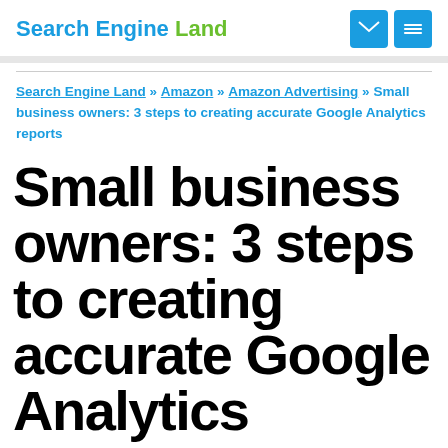Search Engine Land
Search Engine Land » Amazon » Amazon Advertising » Small business owners: 3 steps to creating accurate Google Analytics reports
Small business owners: 3 steps to creating accurate Google Analytics reports
Poorfficials to in Search Analytics it...